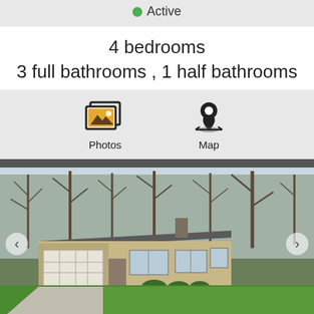Active
4 bedrooms
3 full bathrooms , 1 half bathrooms
Photos
Map
[Figure (photo): Exterior photo of a ranch-style house with a white garage door, large windows, brick facade, green lawn, and bare trees in the background]